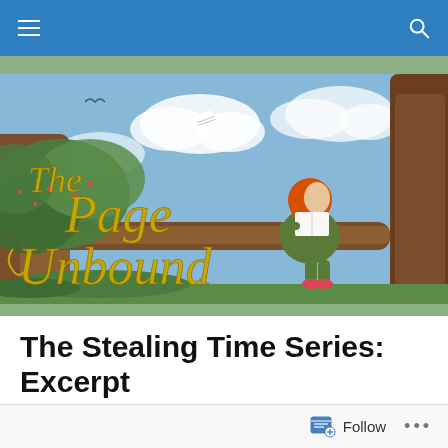Navigation bar with hamburger menu and search icon
[Figure (illustration): Illustrated blog banner for 'The Page Unbound' showing a red-haired girl sitting on a tree branch reading a book, with golden decorative text reading 'The Page Unbound' on a blue sky background with foliage.]
The Stealing Time Series: Excerpt
Posted by Haley Ringer
Follow ...